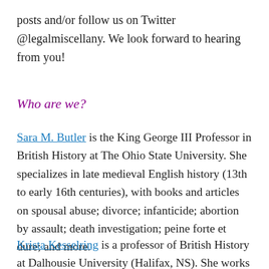posts and/or follow us on Twitter @legalmiscellany. We look forward to hearing from you!
Who are we?
Sara M. Butler is the King George III Professor in British History at The Ohio State University. She specializes in late medieval English history (13th to early 16th centuries), with books and articles on spousal abuse; divorce; infanticide; abortion by assault; death investigation; peine forte et dure; and more.
Krista Kesselring is a professor of British History at Dalhousie University (Halifax, NS). She works mainly in